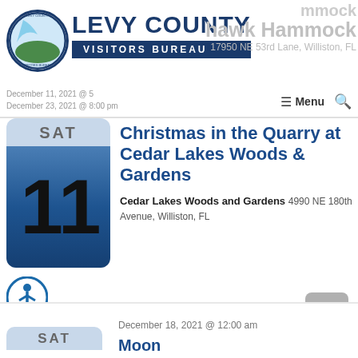Levy County Visitors Bureau
hawk Hammock
hawk Hammock
17950 NE 53rd Lane, Williston, FL
December 11, 2021 @ 5...
December 23, 2021 @ 8:00 pm
≡ Menu 🔍
Christmas in the Quarry at Cedar Lakes Woods & Gardens
Cedar Lakes Woods and Gardens 4990 NE 180th Avenue, Williston, FL
December 18, 2021 @ 12:00 am